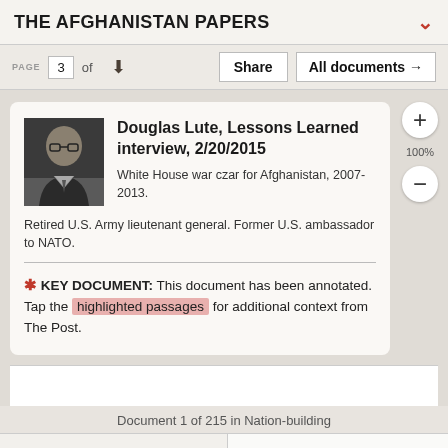THE AFGHANISTAN PAPERS
PAGE 3 of — Share All documents →
Douglas Lute, Lessons Learned interview, 2/20/2015
White House war czar for Afghanistan, 2007-2013. Retired U.S. Army lieutenant general. Former U.S. ambassador to NATO.
* KEY DOCUMENT: This document has been annotated. Tap the highlighted passages for additional context from The Post.
Document 1 of 215 in Nation-building